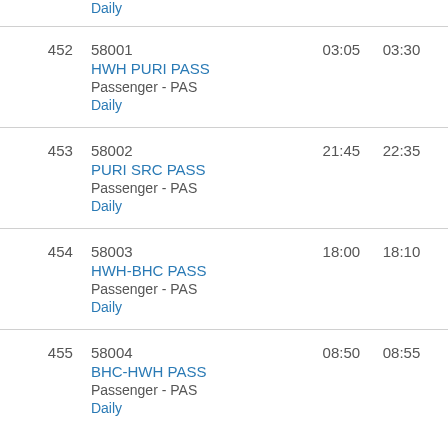| # | Train | Dep | Arr |
| --- | --- | --- | --- |
|  | Daily |  |  |
| 452 | 58001
HWH PURI PASS
Passenger - PAS
Daily | 03:05 | 03:30 |
| 453 | 58002
PURI SRC PASS
Passenger - PAS
Daily | 21:45 | 22:35 |
| 454 | 58003
HWH-BHC PASS
Passenger - PAS
Daily | 18:00 | 18:10 |
| 455 | 58004
BHC-HWH PASS
Passenger - PAS
Daily | 08:50 | 08:55 |